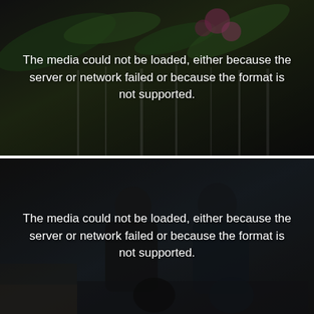[Figure (screenshot): Video player showing an error message overlaid on a blurred background image of green leaves and pink flowers with a waterfall. The error text reads: 'The media could not be loaded, either because the server or network failed or because the format is not supported.']
[Figure (screenshot): Video player showing an error message overlaid on a blurred background image of two people sitting and talking indoors. The error text reads: 'The media could not be loaded, either because the server or network failed or because the format is not supported.']